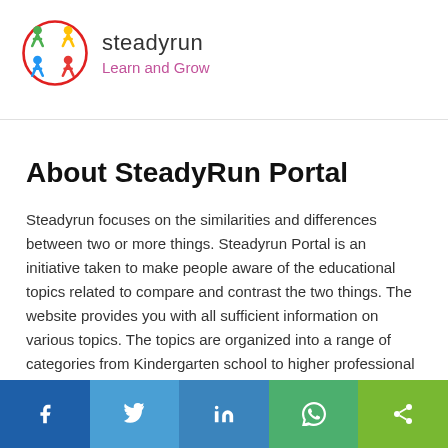[Figure (logo): SteadyRun Learn and Grow logo with colorful figure icon and text]
About SteadyRun Portal
Steadyrun focuses on the similarities and differences between two or more things. Steadyrun Portal is an initiative taken to make people aware of the educational topics related to compare and contrast the two things. The website provides you with all sufficient information on various topics. The topics are organized into a range of categories from Kindergarten school to higher professional